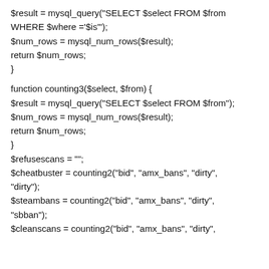$result = mysql_query("SELECT $select FROM $from WHERE $where ='$is'");
$num_rows = mysql_num_rows($result);
return $num_rows;
}

function counting3($select, $from) {
$result = mysql_query("SELECT $select FROM $from");
$num_rows = mysql_num_rows($result);
return $num_rows;
}
$refusescans = "";
$cheatbuster = counting2("bid", "amx_bans", "dirty", "dirty");
$steambans = counting2("bid", "amx_bans", "dirty", "sbban");
$cleanscans = counting2("bid", "amx_bans", "dirty",